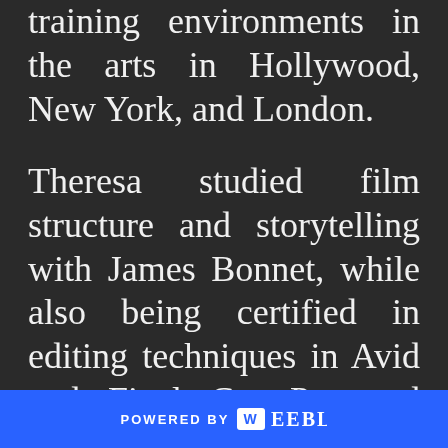training environments in the arts in Hollywood, New York, and London.
Theresa studied film structure and storytelling with James Bonnet, while also being certified in editing techniques in Avid and Final Cut Pro and completed a number of activist and cultural documentaries. Her artistic performance training has been extensive. Modern acting/directing mentors include
POWERED BY weebly